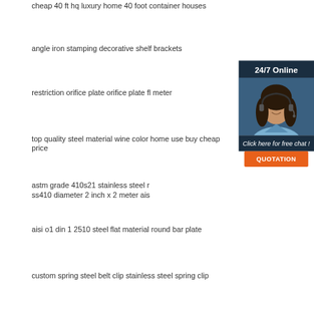cheap 40 ft hq luxury home 40 foot container houses
angle iron stamping decorative shelf brackets
restriction orifice plate orifice plate fl meter
top quality steel material wine color home use buy cheap price
astm grade 410s21 stainless steel r ss410 diameter 2 inch x 2 meter ais
aisi o1 din 1 2510 steel flat material round bar plate
custom spring steel belt clip stainless steel spring clip
[Figure (infographic): 24/7 Online customer service widget with a woman wearing a headset, 'Click here for free chat!' text, and an orange QUOTATION button]
[Figure (infographic): Orange and white TOP button with upward arrow dots]